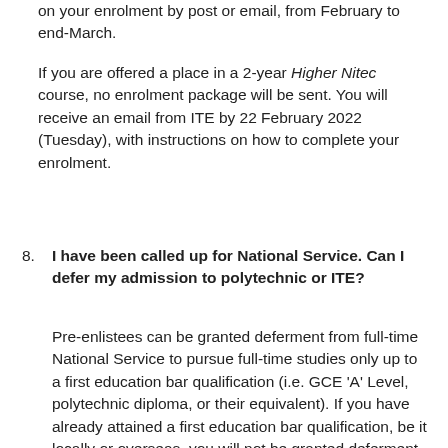on your enrolment by post or email, from February to end-March.
If you are offered a place in a 2-year Higher Nitec course, no enrolment package will be sent. You will receive an email from ITE by 22 February 2022 (Tuesday), with instructions on how to complete your enrolment.
8. I have been called up for National Service. Can I defer my admission to polytechnic or ITE?
Pre-enlistees can be granted deferment from full-time National Service to pursue full-time studies only up to a first education bar qualification (i.e. GCE 'A' Level, polytechnic diploma, or their equivalent). If you have already attained a first education bar qualification, be it locally or overseas, you will not be granted deferment to pursue another